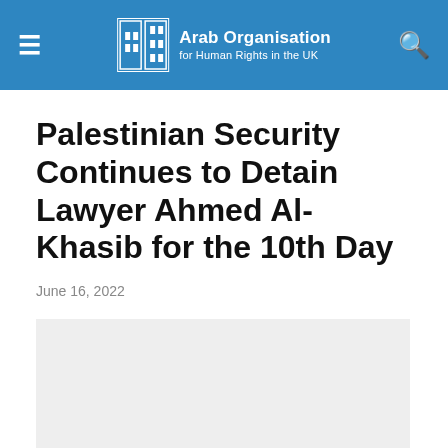Arab Organisation for Human Rights in the UK
Palestinian Security Continues to Detain Lawyer Ahmed Al-Khasib for the 10th Day
June 16, 2022
[Figure (photo): Light grey placeholder image below the article date]